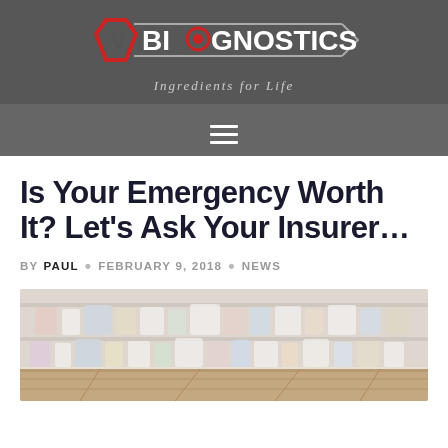[Figure (logo): V-Biognostics logo with hexagon shape and text 'BIOGNOSTICS', tagline 'Ingredients for Life']
Is Your Emergency Worth It? Let’s Ask Your Insurer…
BY PAUL • FEBRUARY 9, 2018 • NEWS
[Figure (photo): Blurred pharmacy shelves with bottles and products, wooden surface in foreground]